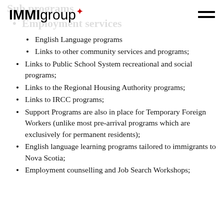IMMIgroup
English Language programs
Links to other community services and programs;
Links to Public School System recreational and social programs;
Links to the Regional Housing Authority programs;
Links to IRCC programs;
Support Programs are also in place for Temporary Foreign Workers (unlike most pre-arrival programs which are exclusively for permanent residents);
English language learning programs tailored to immigrants to Nova Scotia;
Employment counselling and Job Search Workshops;